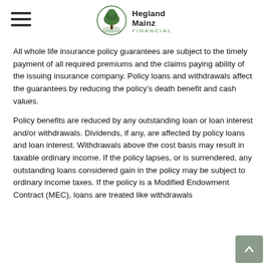Hegland Mainz Financial
All whole life insurance policy guarantees are subject to the timely payment of all required premiums and the claims paying ability of the issuing insurance company. Policy loans and withdrawals affect the guarantees by reducing the policy's death benefit and cash values.
Policy benefits are reduced by any outstanding loan or loan interest and/or withdrawals. Dividends, if any, are affected by policy loans and loan interest. Withdrawals above the cost basis may result in taxable ordinary income. If the policy lapses, or is surrendered, any outstanding loans considered gain in the policy may be subject to ordinary income taxes. If the policy is a Modified Endowment Contract (MEC), loans are treated like withdrawals...